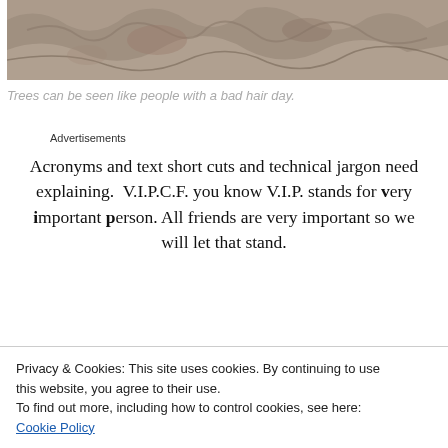[Figure (photo): Close-up photo of rough rocky or bark texture, viewed from below, with light colored stone or tree bark surface.]
Trees can be seen like people with a bad hair day.
Advertisements
Acronyms and text short cuts and technical jargon need explaining.  V.I.P.C.F. you know V.I.P. stands for very important person. All friends are very important so we will let that stand.
Privacy & Cookies: This site uses cookies. By continuing to use this website, you agree to their use.
To find out more, including how to control cookies, see here: Cookie Policy
Close and accept